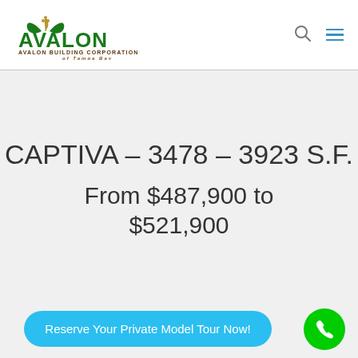[Figure (logo): Avalon Building Corporation of Tampa Bay logo — green bold AVALON text with decorative leaf emblem, subtext AVALON BUILDING CORPORATION OF TAMPA BAY]
CAPTIVA – 3478 – 3923 S.F.
From $487,900 to $521,900
Reserve Your Private Model Tour Now!